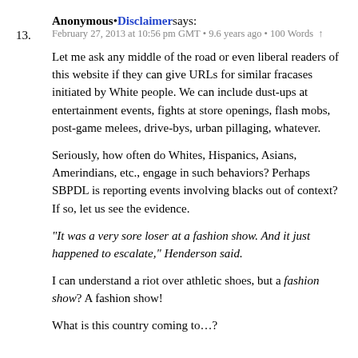13. Anonymous • Disclaimer says:
February 27, 2013 at 10:56 pm GMT • 9.6 years ago • 100 Words ↑
Let me ask any middle of the road or even liberal readers of this website if they can give URLs for similar fracases initiated by White people. We can include dust-ups at entertainment events, fights at store openings, flash mobs, post-game melees, drive-bys, urban pillaging, whatever.
Seriously, how often do Whites, Hispanics, Asians, Amerindians, etc., engage in such behaviors? Perhaps SBPDL is reporting events involving blacks out of context? If so, let us see the evidence.
“It was a very sore loser at a fashion show. And it just happened to escalate,” Henderson said.
I can understand a riot over athletic shoes, but a fashion show? A fashion show!
What is this country coming to…?